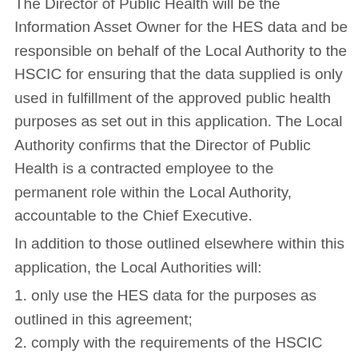The Director of Public Health will be the Information Asset Owner for the HES data and be responsible on behalf of the Local Authority to the HSCIC for ensuring that the data supplied is only used in fulfillment of the approved public health purposes as set out in this application. The Local Authority confirms that the Director of Public Health is a contracted employee to the permanent role within the Local Authority, accountable to the Chief Executive.
In addition to those outlined elsewhere within this application, the Local Authorities will:
1. only use the HES data for the purposes as outlined in this agreement;
2. comply with the requirements of the HSCIC Code of Practice on Confidential Information, the Caldicott Principles and other relevant statutory requirements and guidance to protect